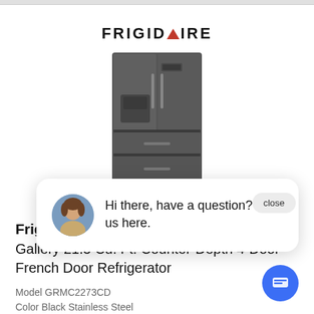[Figure (logo): Frigidaire brand logo with red triangle replacing the A]
[Figure (photo): Frigidaire Gallery 4-door French door refrigerator in Black Stainless Steel]
[Figure (screenshot): Live chat popup with female avatar and message: Hi there, have a question? Text us here. Also shows a close button and a blue chat icon button.]
Frigidaire
Gallery 21.5 Cu. Ft. Counter-Depth 4-Door French Door Refrigerator
Model GRMC2273CD
Color Black Stainless Steel